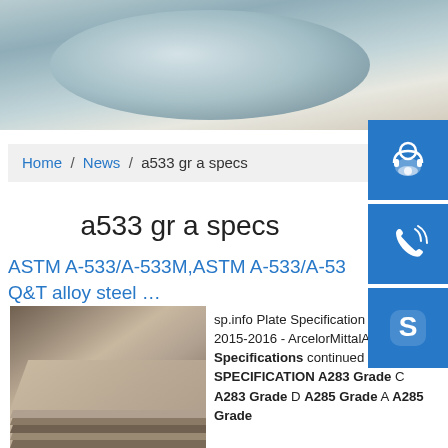[Figure (photo): Top banner photo showing a rolled steel coil or pipe wrapped in grey/blue material in a warehouse setting]
[Figure (infographic): Side panel with three blue square icon buttons: headset/customer service icon, phone/call icon, and Skype icon]
Home / News / a533 gr a specs
a533 gr a specs
ASTM A-533/A-533M,ASTM A-533/A-53... Q&T alloy steel …
[Figure (photo): Photo of stacked steel plates viewed at an angle]
sp.info Plate Specification Guide 2015-2016 - ArcelorMittalASTM Specifications continued SPECIFICATION A283 Grade C A283 Grade D A285 Grade A A285 Grade